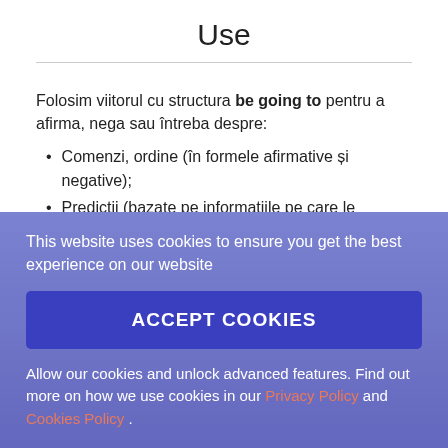Use
Folosim viitorul cu structura be going to pentru a afirma, nega sau întreba despre:
Comenzi, ordine (în formele afirmative și negative);
Predicții (bazate pe informațiile pe care le deținem
This website uses cookies to ensure you get the best experience on our website
ACCEPT COOKIES
Allow our cookies and unlock advanced features. Find out more on how we use cookies in our Privacy Policy and Cookies Policy .